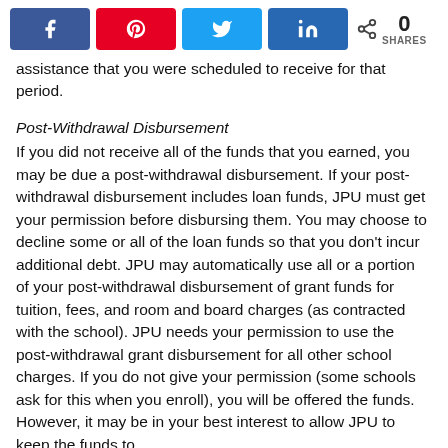[Figure (other): Social media share buttons: Facebook (blue), Pinterest (red), Twitter (light blue), LinkedIn (dark blue), and a share icon with 0 SHARES count]
assistance that you were scheduled to receive for that period.
Post-Withdrawal Disbursement
If you did not receive all of the funds that you earned, you may be due a post-withdrawal disbursement. If your post-withdrawal disbursement includes loan funds, JPU must get your permission before disbursing them. You may choose to decline some or all of the loan funds so that you don't incur additional debt. JPU may automatically use all or a portion of your post-withdrawal disbursement of grant funds for tuition, fees, and room and board charges (as contracted with the school). JPU needs your permission to use the post-withdrawal grant disbursement for all other school charges. If you do not give your permission (some schools ask for this when you enroll), you will be offered the funds. However, it may be in your best interest to allow JPU to keep the funds to